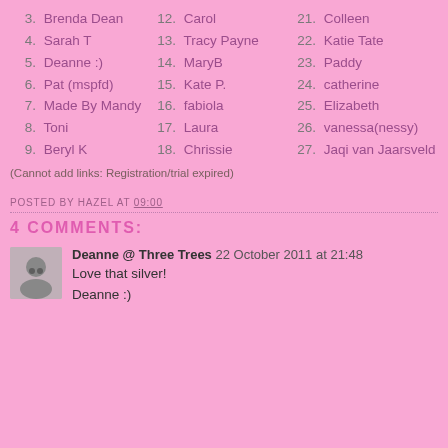3. Brenda Dean
4. Sarah T
5. Deanne :)
6. Pat (mspfd)
7. Made By Mandy
8. Toni
9. Beryl K
12. Carol
13. Tracy Payne
14. MaryB
15. Kate P.
16. fabiola
17. Laura
18. Chrissie
21. Colleen
22. Katie Tate
23. Paddy
24. catherine
25. Elizabeth
26. vanessa(nessy)
27. Jaqi van Jaarsveld
(Cannot add links: Registration/trial expired)
POSTED BY HAZEL AT 09:00
4 COMMENTS:
Deanne @ Three Trees 22 October 2011 at 21:48
Love that silver!
Deanne :)